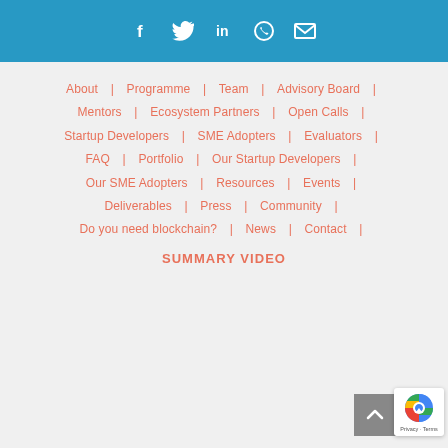[Figure (other): Social media icons on blue bar: Facebook, Twitter, LinkedIn, WhatsApp, Email]
About | Programme | Team | Advisory Board | Mentors | Ecosystem Partners | Open Calls | Startup Developers | SME Adopters | Evaluators | FAQ | Portfolio | Our Startup Developers | Our SME Adopters | Resources | Events | Deliverables | Press | Community | Do you need blockchain? | News | Contact | SUMMARY VIDEO